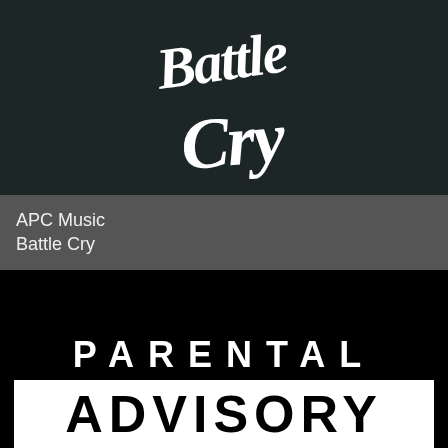[Figure (logo): Cursive/script handwritten logo text reading 'Battle Cry' in white on dark teal/charcoal background]
APC Music
Battle Cry
[Figure (other): Parental Advisory label on black background. Text reads 'PARENTAL' above a white box containing 'ADVISORY' in black bold letters.]